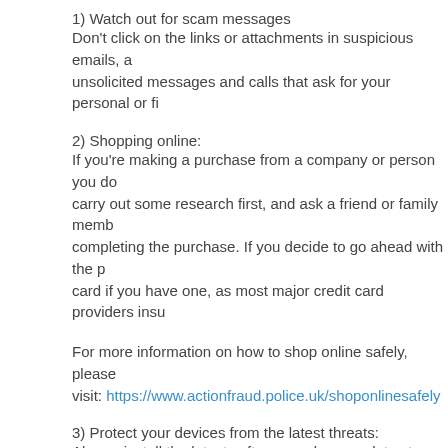1) Watch out for scam messages
Don't click on the links or attachments in suspicious emails, and unsolicited messages and calls that ask for your personal or fi...
2) Shopping online:
If you're making a purchase from a company or person you do... carry out some research first, and ask a friend or family memb... completing the purchase. If you decide to go ahead with the p... card if you have one, as most major credit card providers insu...
For more information on how to shop online safely, please visit: https://www.actionfraud.police.uk/shoponlinesafely
3) Protect your devices from the latest threats:
Always install the latest software and app updates to protect y... latest threats.
For information on how to update your devices, please visit: https://www.ncsc.gov.uk/guidance/securing-your-devices
For the latest health information and advice about COVID-19 p... website.